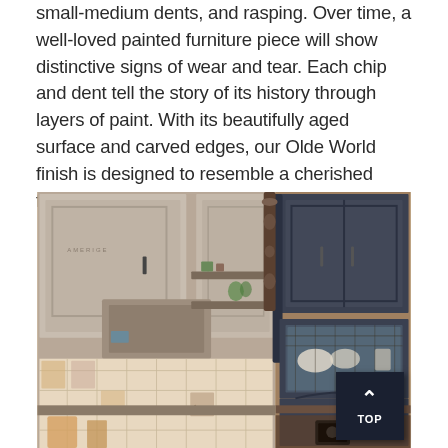small-medium dents, and rasping. Over time, a well-loved painted furniture piece will show distinctive signs of wear and tear. Each chip and dent tell the story of its history through layers of paint. With its beautifully aged surface and carved edges, our Olde World finish is designed to resemble a cherished family heirloom.
[Figure (photo): Split kitchen scene showing two cabinet styles: left side shows light grayish-brown rustic cabinets with ornate tile backsplash and a range hood, right side shows dark charcoal/navy cabinets with glass-front display cabinet and decorative details. A 'TOP' navigation button appears in the bottom right corner.]